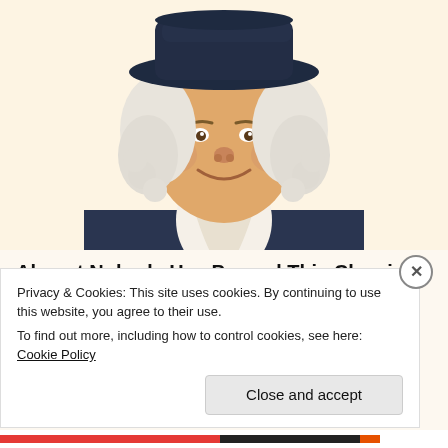[Figure (illustration): Illustrated portrait of a smiling man with white curly hair and a dark coat with white cravat, resembling classic brand mascot (Quaker Oats style), cropped at upper body, on a warm cream background.]
Almost Nobody Has Passed This Classic Logo Quiz
WarpedSpeed
Share this:
Privacy & Cookies: This site uses cookies. By continuing to use this website, you agree to their use.
To find out more, including how to control cookies, see here: Cookie Policy
Close and accept